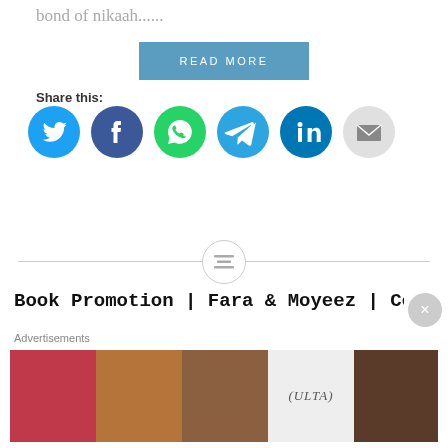bond of nikaah......
READ MORE
Share this:
[Figure (infographic): Social share icons: Twitter (blue), Facebook (dark blue), WhatsApp (green), Telegram (blue), LinkedIn (blue), Email (grey)]
[Figure (other): Horizontal divider line with a circle icon in the center containing a lines/text symbol]
Book Promotion | Fara & Moyeez | Cousin Marriage Sweet
Advertisements
[Figure (photo): ULTA beauty advertisement banner showing makeup/beauty imagery with 'SHOP NOW' text]